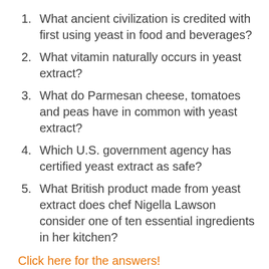What ancient civilization is credited with first using yeast in food and beverages?
What vitamin naturally occurs in yeast extract?
What do Parmesan cheese, tomatoes and peas have in common with yeast extract?
Which U.S. government agency has certified yeast extract as safe?
What British product made from yeast extract does chef Nigella Lawson consider one of ten essential ingredients in her kitchen?
Click here for the answers!